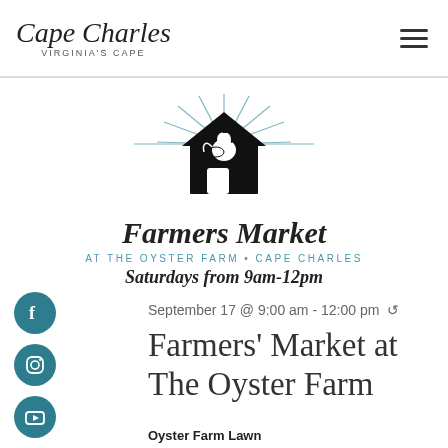Cape Charles — Virginia's Cape
[Figure (logo): Farmers Market at The Oyster Farm Cape Charles logo — barn with rooster silhouette and sunburst rays, with text: Farmers Market, AT THE OYSTER FARM • CAPE CHARLES, Saturdays from 9am-12pm]
September 17 @ 9:00 am - 12:00 pm ↺
Farmers' Market at The Oyster Farm
Oyster Farm Lawn